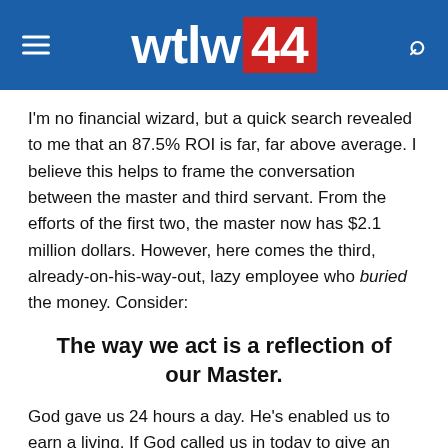wtlw 44
I'm no financial wizard, but a quick search revealed to me that an 87.5% ROI is far, far above average. I believe this helps to frame the conversation between the master and third servant. From the efforts of the first two, the master now has $2.1 million dollars. However, here comes the third, already-on-his-way-out, lazy employee who buried the money. Consider:
The way we act is a reflection of our Master.
God gave us 24 hours a day. He's enabled us to earn a living. If God called us in today to give an account of how we've used what God gives us, would we feel pride or shame? The third servant didn't even try, clearly reflecting his disrespect towards his master.